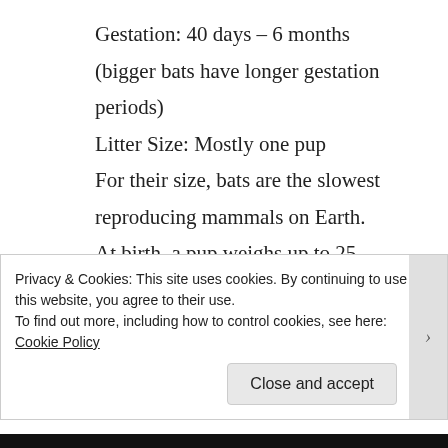Gestation: 40 days – 6 months (bigger bats have longer gestation periods)
Litter Size: Mostly one pup
For their size, bats are the slowest reproducing mammals on Earth.
At birth, a pup weighs up to 25 percent of its mother's body weight, which is like a human mother giving birth to a 31 pound
Privacy & Cookies: This site uses cookies. By continuing to use this website, you agree to their use.
To find out more, including how to control cookies, see here: Cookie Policy